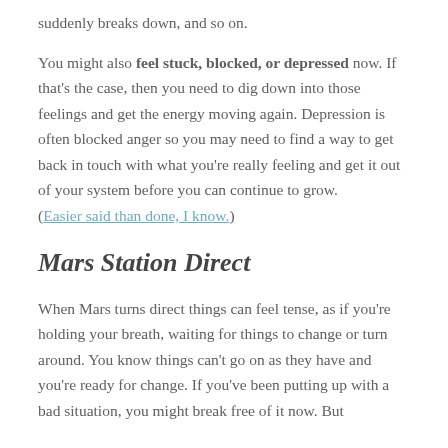suddenly breaks down, and so on.
You might also feel stuck, blocked, or depressed now. If that's the case, then you need to dig down into those feelings and get the energy moving again. Depression is often blocked anger so you may need to find a way to get back in touch with what you're really feeling and get it out of your system before you can continue to grow. (Easier said than done, I know.)
Mars Station Direct
When Mars turns direct things can feel tense, as if you're holding your breath, waiting for things to change or turn around. You know things can't go on as they have and you're ready for change. If you've been putting up with a bad situation, you might break free of it now. But